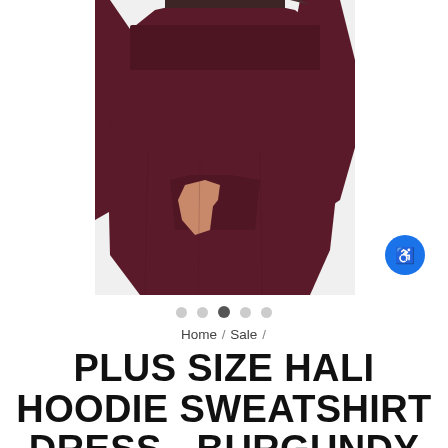[Figure (photo): Close-up photo of a person wearing a burgundy/dark maroon plus size hoodie sweatshirt dress with long sleeves and a front pocket, hands in pocket area]
Home / Sale /
PLUS SIZE HALI HOODIE SWEATSHIRT DRESS - BURGUNDY